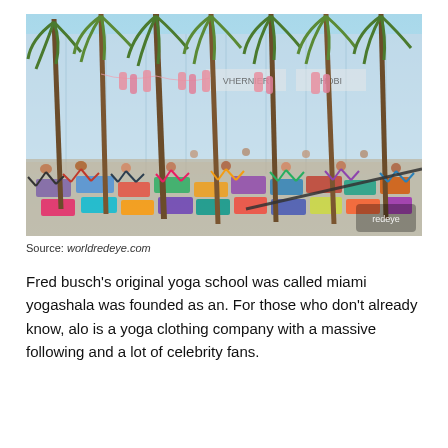[Figure (photo): Outdoor group yoga class with many participants on colorful mats, surrounded by tall palm trees, with pink decorations hanging between the trees, and a modern glass building in the background.]
Source: worldredeye.com
Fred busch's original yoga school was called miami yogashala was founded as an. For those who don't already know, alo is a yoga clothing company with a massive following and a lot of celebrity fans.